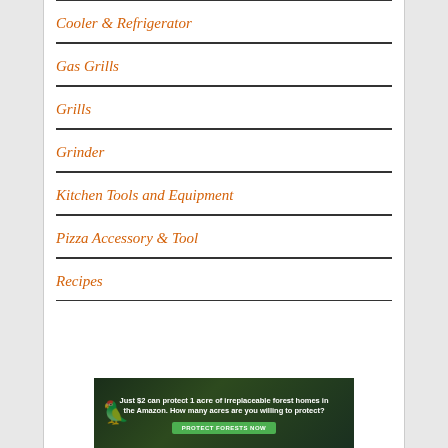Cooler & Refrigerator
Gas Grills
Grills
Grinder
Kitchen Tools and Equipment
Pizza Accessory & Tool
Recipes
[Figure (photo): Advertisement banner with forest background. Text: 'Just $2 can protect 1 acre of irreplaceable forest homes in the Amazon. How many acres are you willing to protect?' with a green 'PROTECT FORESTS NOW' button.]